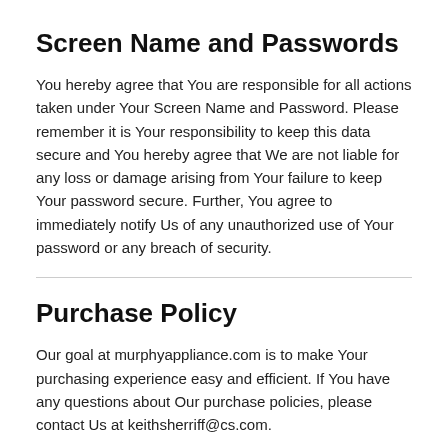Screen Name and Passwords
You hereby agree that You are responsible for all actions taken under Your Screen Name and Password. Please remember it is Your responsibility to keep this data secure and You hereby agree that We are not liable for any loss or damage arising from Your failure to keep Your password secure. Further, You agree to immediately notify Us of any unauthorized use of Your password or any breach of security.
Purchase Policy
Our goal at murphyappliance.com is to make Your purchasing experience easy and efficient. If You have any questions about Our purchase policies, please contact Us at keithsherriff@cs.com.
Sales Tax
Any and all sales or use tax will be Your responsibility. Sales tax calculations on the web site are an estimate only. Your true